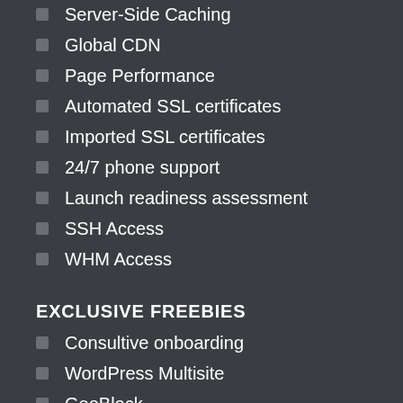Server-Side Caching
Global CDN
Page Performance
Automated SSL certificates
Imported SSL certificates
24/7 phone support
Launch readiness assessment
SSH Access
WHM Access
EXCLUSIVE FREEBIES
Consultive onboarding
WordPress Multisite
GeoBlock
SEMrush Performance Audit
Intrusion Protection